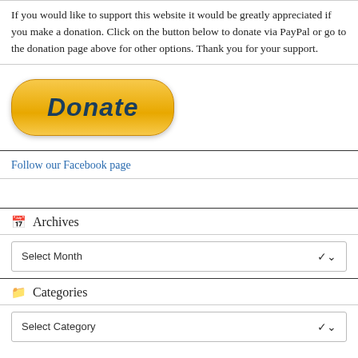If you would like to support this website it would be greatly appreciated if you make a donation. Click on the button below to donate via PayPal or go to the donation page above for other options. Thank you for your support.
[Figure (illustration): PayPal Donate button - yellow/orange rounded pill-shaped button with dark teal italic bold text reading 'Donate']
Follow our Facebook page
Archives
Select Month
Categories
Select Category